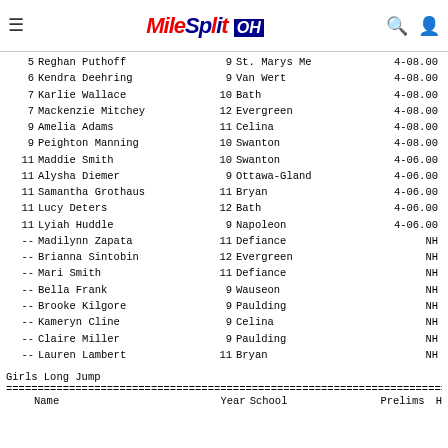MileSplit OH
| # | Name | Yr | School | Mark |
| --- | --- | --- | --- | --- |
| 5 | Reghan Puthoff | 9 | St. Marys Me | 4-08.00 |
| 6 | Kendra Deehring | 9 | Van Wert | 4-08.00 |
| 7 | Karlie Wallace | 10 | Bath | 4-08.00 |
| 7 | Mackenzie Mitchey | 12 | Evergreen | 4-08.00 |
| 9 | Amelia Adams | 11 | Celina | 4-08.00 |
| 9 | Peighton Manning | 10 | Swanton | 4-08.00 |
| 11 | Maddie Smith | 10 | Swanton | 4-06.00 |
| 11 | Alysha Diemer | 9 | Ottawa-Gland | 4-06.00 |
| 11 | Samantha Grothaus | 11 | Bryan | 4-06.00 |
| 11 | Lucy Deters | 12 | Bath | 4-06.00 |
| 11 | Lyiah Huddle | 9 | Napoleon | 4-06.00 |
| -- | Madilynn Zapata | 11 | Defiance | NH |
| -- | Brianna Sintobin | 12 | Evergreen | NH |
| -- | Mari Smith | 11 | Defiance | NH |
| -- | Bella Frank | 9 | Wauseon | NH |
| -- | Brooke Kilgore | 9 | Paulding | NH |
| -- | Kameryn Cline | 9 | Celina | NH |
| -- | Claire Miller | 9 | Paulding | NH |
| -- | Lauren Lambert | 11 | Bryan | NH |
Girls Long Jump
| Name | Year | School | Prelims | H |
| --- | --- | --- | --- | --- |